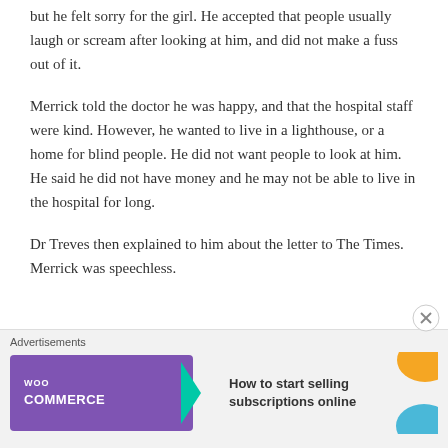but he felt sorry for the girl. He accepted that people usually laugh or scream after looking at him, and did not make a fuss out of it.
Merrick told the doctor he was happy, and that the hospital staff were kind. However, he wanted to live in a lighthouse, or a home for blind people. He did not want people to look at him. He said he did not have money and he may not be able to live in the hospital for long.
Dr Treves then explained to him about the letter to The Times. Merrick was speechless.
[Figure (other): WooCommerce advertisement banner with purple logo, teal arrow, orange and blue decorative shapes, and text 'How to start selling subscriptions online']